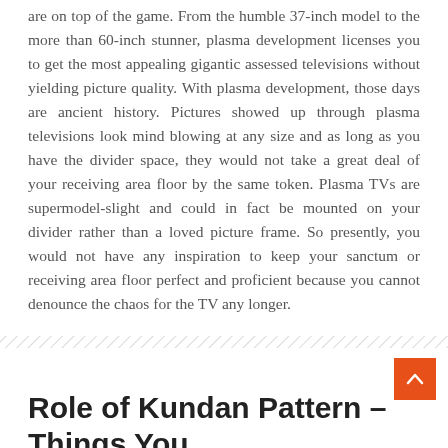are on top of the game. From the humble 37-inch model to the more than 60-inch stunner, plasma development licenses you to get the most appealing gigantic assessed televisions without yielding picture quality. With plasma development, those days are ancient history. Pictures showed up through plasma televisions look mind blowing at any size and as long as you have the divider space, they would not take a great deal of your receiving area floor by the same token. Plasma TVs are supermodel-slight and could in fact be mounted on your divider rather than a loved picture frame. So presently, you would not have any inspiration to keep your sanctum or receiving area floor perfect and proficient because you cannot denounce the chaos for the TV any longer.
[Figure (other): Diagonal hatching divider line separating content sections]
[Figure (other): Orange scroll-to-top button with upward arrow icon]
Role of Kundan Pattern – Things You